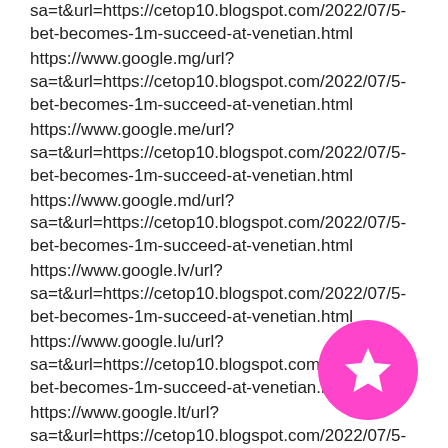sa=t&url=https://cetop10.blogspot.com/2022/07/5-bet-becomes-1m-succeed-at-venetian.html
https://www.google.mg/url?sa=t&url=https://cetop10.blogspot.com/2022/07/5-bet-becomes-1m-succeed-at-venetian.html
https://www.google.me/url?sa=t&url=https://cetop10.blogspot.com/2022/07/5-bet-becomes-1m-succeed-at-venetian.html
https://www.google.md/url?sa=t&url=https://cetop10.blogspot.com/2022/07/5-bet-becomes-1m-succeed-at-venetian.html
https://www.google.lv/url?sa=t&url=https://cetop10.blogspot.com/2022/07/5-bet-becomes-1m-succeed-at-venetian.html
https://www.google.lu/url?sa=t&url=https://cetop10.blogspot.com/2022/07/5-bet-becomes-1m-succeed-at-venetian.html
https://www.google.lt/url?sa=t&url=https://cetop10.blogspot.com/2022/07/5-bet-becomes-1m-succeed-at-venetian.html
https://www.google.lk/url?sa=t&url=https://cetop10.blogspot.com/2022/07/5-